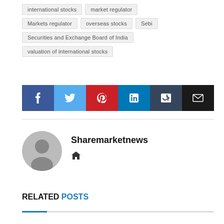international stocks
market regulator
Markets regulator
overseas stocks
Sebi
Securities and Exchange Board of India
valuation of international stocks
[Figure (other): Social media sharing buttons: Facebook, Twitter, Pinterest, LinkedIn, Tumblr, Email]
[Figure (photo): Author avatar placeholder (grey circle with person silhouette)]
Sharemarketnews
RELATED POSTS